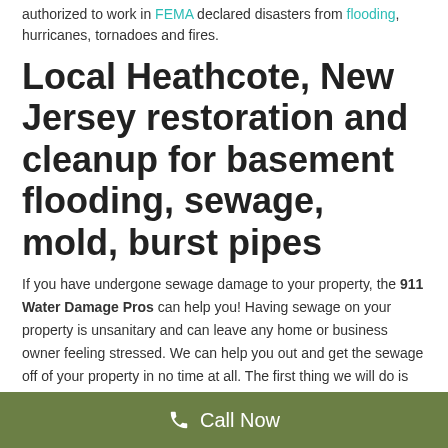authorized to work in FEMA declared disasters from flooding, hurricanes, tornadoes and fires.
Local Heathcote, New Jersey restoration and cleanup for basement flooding, sewage, mold, burst pipes
If you have undergone sewage damage to your property, the 911 Water Damage Pros can help you! Having sewage on your property is unsanitary and can leave any home or business owner feeling stressed. We can help you out and get the sewage off of your property in no time at all. The first thing we will do is remove the sewage following all state guidelines and safety precautions. From there, our dehumidifiers and
Call Now